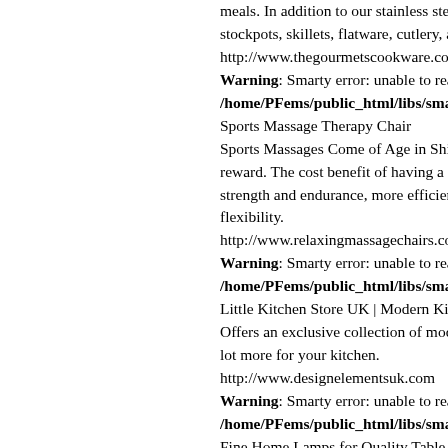meals. In addition to our stainless steel co stockpots, skillets, flatware, cutlery, and c http://www.thegourmetscookware.com Warning: Smarty error: unable to read re /home/PFems/public_html/libs/smarty/ Sports Massage Therapy Chair Sports Massages Come of Age in Shiatsu reward. The cost benefit of having a mass strength and endurance, more efficient he flexibility. http://www.relaxingmassagechairs.com/ Warning: Smarty error: unable to read re /home/PFems/public_html/libs/smarty/ Little Kitchen Store UK | Modern Kitchen Offers an exclusive collection of modern lot more for your kitchen. http://www.designelementsuk.com Warning: Smarty error: unable to read re /home/PFems/public_html/libs/smarty/ Fine Home Lamps for Quality Table Lam Lamps for the Home - Fine Quality Home Bedside Lamps, Desk Lamps, Porcelain L Free Shipping http://www.FineHomeLamps.com Warning: Smarty error: unable to read re